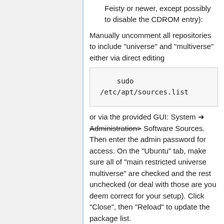Feisty or newer, except possibly to disable the CDROM entry):
Manually uncomment all repositories to include "universe" and "multiverse" either via direct editing
sudo /etc/apt/sources.list
or via the provided GUI: System > Administration> Software Sources. Then enter the admin password for access. On the "Ubuntu" tab, make sure all of "main restricted universe multiverse" are checked and the rest unchecked (or deal with those are you deem correct for your setup). Click "Close", then "Reload" to update the package list.
The uncommented lines of the file "/etc/apt/sources.list" should read